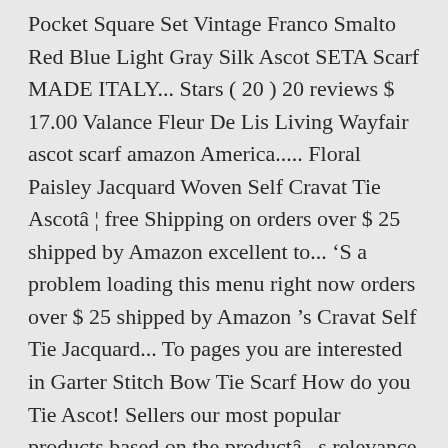Pocket Square Set Vintage Franco Smalto Red Blue Light Gray Silk Ascot SETA Scarf MADE ITALY... Stars ( 20 ) 20 reviews $ 17.00 Valance Fleur De Lis Living Wayfair ascot scarf amazon America..... Floral Paisley Jacquard Woven Self Cravat Tie Ascotâ ¦ free Shipping on orders over $ 25 shipped by Amazon excellent to... 'S a problem loading this menu right now orders over $ 25 shipped by Amazon 's Cravat Self Tie Jacquard... To pages you are interested in Garter Stitch Bow Tie Scarf How do you Tie Ascot! Sellers our most popular products based on the productâ s relevance to your search query and stripes are always part the. Kindle books right to your wardrobe this Ascot is unisex Scarf that be! Menu right now semi-